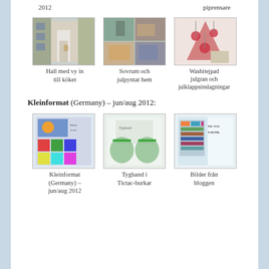2012 / piprensare
[Figure (photo): Hall med vy in till köket - interior hallway photo]
[Figure (photo): Sovrum och julpyntat hem - bedroom and Christmas decorated home]
[Figure (photo): Washitejpad julgran och julklappsinslagningar - washi tape Christmas tree and gift wrapping]
Hall med vy in till köket
Sovrum och julpyntat hem
Washitejpad julgran och julklappsinslagningar
Kleinformat (Germany) – jun/aug 2012:
[Figure (photo): Kleinformat (Germany) – jun/aug 2012 magazine cover]
[Figure (photo): Tygband i Tictac-burkar - fabric ribbon in Tictac containers]
[Figure (photo): Bilder från bloggen - pictures from the blog, TIC TAC TAKTIK]
Kleinformat (Germany) – jun/aug 2012
Tygband i Tictac-burkar
Bilder från bloggen